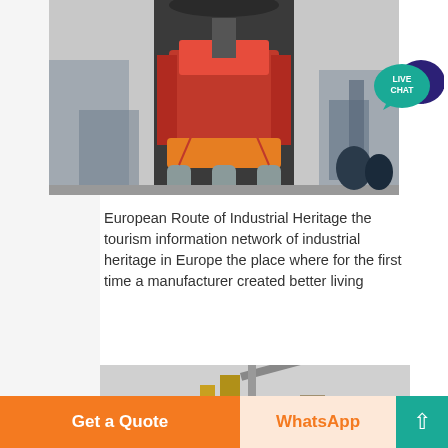[Figure (photo): Industrial grinding mill machine with red/orange mechanical components, black cylindrical body, photographed outdoors at an industrial facility]
[Figure (illustration): Live Chat bubble icon: teal speech bubble with 'LIVE CHAT' text and dark blue chat icon]
European Route of Industrial Heritage the tourism information network of industrial heritage in Europe the place where for the first time a manufacturer created better living
[Figure (photo): Partial image of industrial machinery/equipment at bottom of page, partially cut off]
Get a Quote
WhatsApp